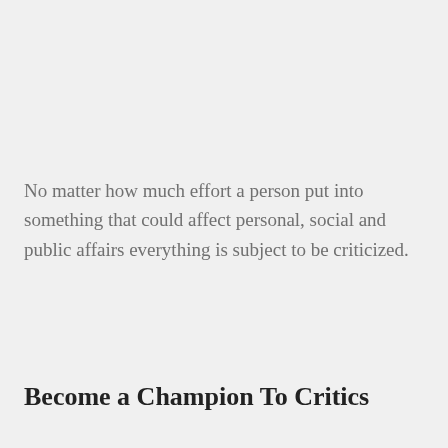No matter how much effort a person put into something that could affect personal, social and public affairs everything is subject to be criticized.
Become a Champion To Critics